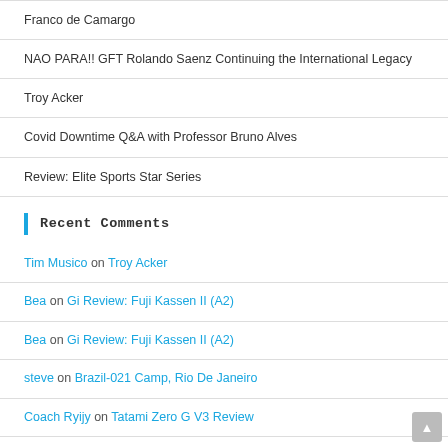Franco de Camargo
NAO PARA!! GFT Rolando Saenz Continuing the International Legacy
Troy Acker
Covid Downtime Q&A with Professor Bruno Alves
Review: Elite Sports Star Series
Recent Comments
Tim Musico on Troy Acker
Bea on Gi Review: Fuji Kassen II (A2)
Bea on Gi Review: Fuji Kassen II (A2)
steve on Brazil-021 Camp, Rio De Janeiro
Coach Ryijy on Tatami Zero G V3 Review